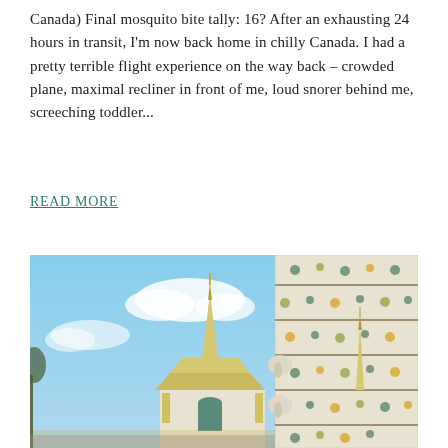Canada) Final mosquito bite tally: 16? After an exhausting 24 hours in transit, I'm now back home in chilly Canada. I had a pretty terrible flight experience on the way back – crowded plane, maximal recliner in front of me, loud snorer behind me, screeching toddler...
READ MORE
[Figure (photo): Photograph of a Thai temple (likely Wat Arun in Bangkok) showing ornate white mosaic-encrusted spires and decorative statues against a blue sky with clouds.]